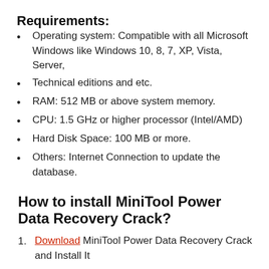Requirements:
Operating system:  Compatible with all Microsoft Windows like Windows 10, 8, 7, XP, Vista, Server,
Technical editions and etc.
RAM: 512 MB or above system memory.
CPU: 1.5 GHz or higher processor (Intel/AMD)
Hard Disk Space:  100 MB or more.
Others: Internet Connection to update the database.
How to install MiniTool Power Data Recovery Crack?
Download MiniTool Power Data Recovery Crack and Install It